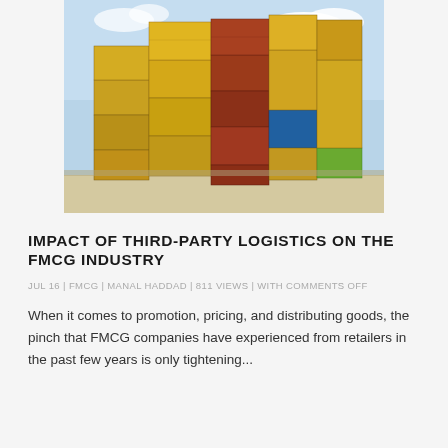[Figure (photo): Stacked shipping containers of various colors (yellow, red, green, blue) piled high under a blue sky with clouds.]
IMPACT OF THIRD-PARTY LOGISTICS ON THE FMCG INDUSTRY
JUL 16 | FMCG | MANAL HADDAD | 811 VIEWS | WITH COMMENTS OFF
When it comes to promotion, pricing, and distributing goods, the pinch that FMCG companies have experienced from retailers in the past few years is only tightening...